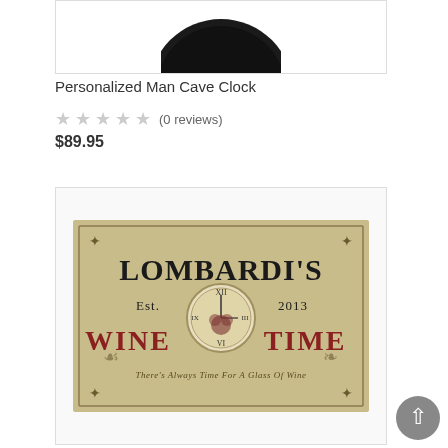[Figure (photo): Top portion of a circular dark clock face, partially cropped at the top of page]
Personalized Man Cave Clock
★★★★★ (0 reviews)
$89.95
[Figure (photo): Vintage-style wine sign reading LOMBARDI'S Est. 2013 WINE TIME with a decorative clock in the center and text 'There's Always Time For A Glass Of Wine']